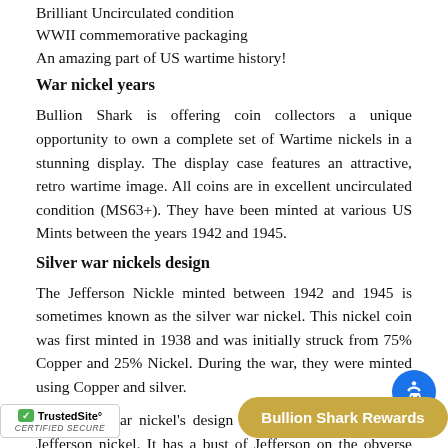Brilliant Uncirculated condition
WWII commemorative packaging
An amazing part of US wartime history!
War nickel years
Bullion Shark is offering coin collectors a unique opportunity to own a complete set of Wartime nickels in a stunning display. The display case features an attractive, retro wartime image. All coins are in excellent uncirculated condition (MS63+). They have been minted at various US Mints between the years 1942 and 1945.
Silver war nickels design
The Jefferson Nickle minted between 1942 and 1945 is sometimes known as the silver war nickel. This nickel coin was first minted in 1938 and was initially struck from 75% Copper and 25% Nickel. During the war, they were minted using Copper and silver.
The silver war nickel's design is the same as that of the Jefferson nickel. It has a bust of Jefferson on the obverse and Monticello, Jefferson's home on the reverse. Silver war nickels can be distinguished from or 'D' mint mark to indicate that they were